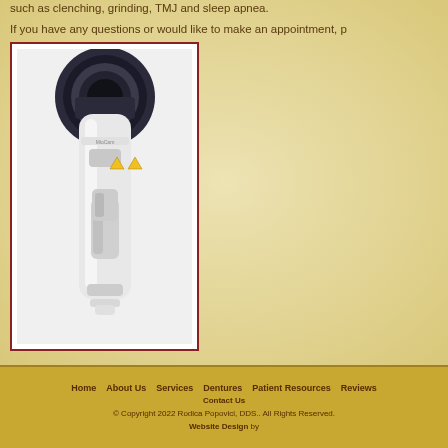such as clenching, grinding, TMJ and sleep apnea.
If you have any questions or would like to make an appointment, p
[Figure (photo): Handheld dental or medical device (likely an intraoral camera or similar instrument) — white plastic body with black lens/sensor at top, trigger grip handle, small control buttons on body.]
Home   About Us   Services   Dentures   Patient Resources   Reviews   Contact Us
© Copyright 2022 Rodica Popovici, DDS.. All Rights Reserved.
Website Design by